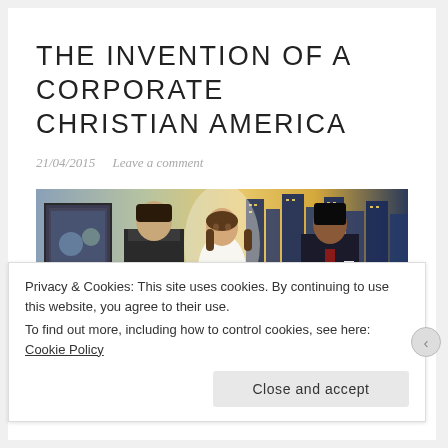THE INVENTION OF A CORPORATE CHRISTIAN AMERICA
21/04/2015   Leave a comment
[Figure (illustration): Painting depicting Jesus Christ in a white robe standing between two businessmen in suits, with a city skyline illuminated at night in the background and a framed picture on the wall to the left.]
Privacy & Cookies: This site uses cookies. By continuing to use this website, you agree to their use.
To find out more, including how to control cookies, see here: Cookie Policy